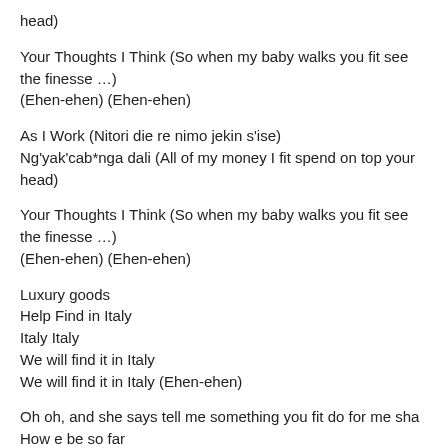head)
Your Thoughts I Think (So when my baby walks you fit see the finesse …)
(Ehen-ehen) (Ehen-ehen)
As I Work (Nitori die re nimo jekin s'ise)
Ng'yak'cab*nga dali (All of my money I fit spend on top your head)
Your Thoughts I Think (So when my baby walks you fit see the finesse …)
(Ehen-ehen) (Ehen-ehen)
Luxury goods
Help Find in Italy
Italy Italy
We will find it in Italy
We will find it in Italy (Ehen-ehen)
Oh oh, and she says tell me something you fit do for me sha
How e be so far
Because I love you, I fit meet your mother